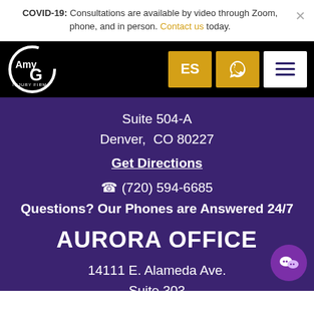COVID-19: Consultations are available by video through Zoom, phone, and in person. Contact us today.
[Figure (logo): Amy G Injury Firm logo in white on black background with navigation buttons ES (Spanish), phone, and hamburger menu]
Suite 504-A
Denver, CO 80227
Get Directions
(720) 594-6685
Questions? Our Phones are Answered 24/7
AURORA OFFICE
14111 E. Alameda Ave.
Suite 303
Aurora, Colorado 80012
Get Directions